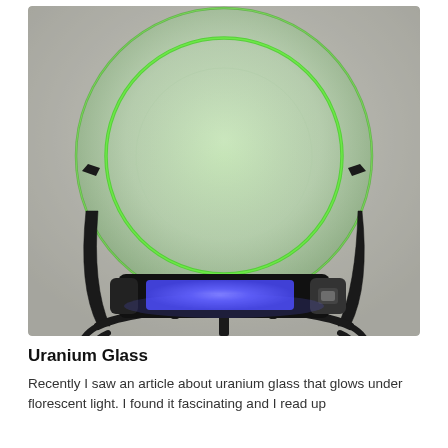[Figure (photo): A translucent green uranium glass plate displayed on a black metal plate stand. A UV/black light flashlight is placed at the base, glowing bright blue-purple, illuminating the plate which glows green around its rim. The background is a neutral gray-white.]
Uranium Glass
Recently I saw an article about uranium glass that glows under florescent light. I found it fascinating and I read up